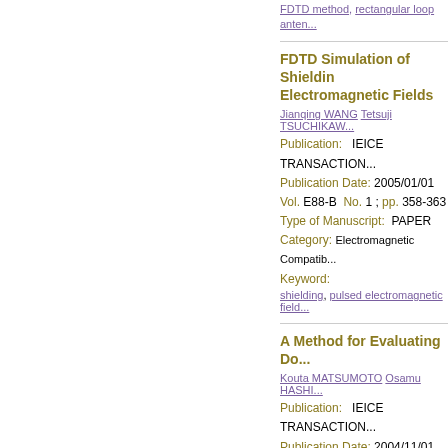FDTD method, rectangular loop antenna
FDTD Simulation of Shielding Electromagnetic Fields
Jianqing WANG  Tetsuji TSUCHIKAWA
Publication:   IEICE TRANSACTIONS
Publication Date: 2005/01/01
Vol. E88-B  No. 1 ; pp. 358-363
Type of Manuscript:  PAPER
Category: Electromagnetic Compatibility
Keyword:
shielding, pulsed electromagnetic field
A Method for Evaluating Do
Kouta MATSUMOTO  Osamu HASHI
Publication:   IEICE TRANSACTIONS
Publication Date: 2004/11/01
Vol. E87-C  No. 11 ; pp. 1997-2000
Type of Manuscript:  LETTER
Category: Electromagnetic Theory
Keyword:
microwave oven, combined waves, FD